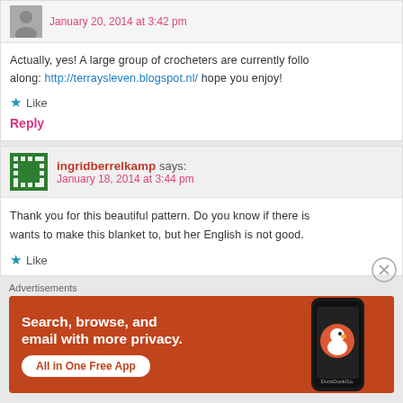January 20, 2014 at 3:42 pm
Actually, yes! A large group of crocheters are currently following along: http://terraysleven.blogspot.nl/ hope you enjoy!
Like
Reply
ingridberrelkamp says: January 18, 2014 at 3:44 pm
Thank you for this beautiful pattern. Do you know if there is wants to make this blanket to, but her English is not good.
Like
Advertisements
[Figure (screenshot): DuckDuckGo advertisement banner with orange background showing 'Search, browse, and email with more privacy. All in One Free App' with DuckDuckGo logo on phone mockup]